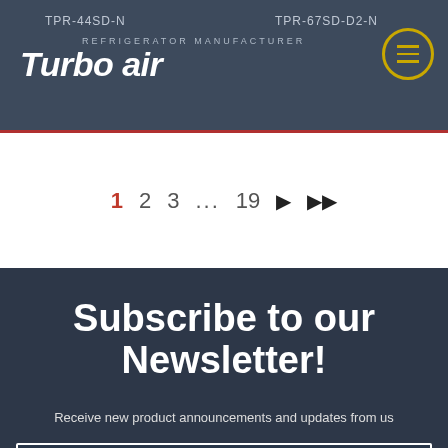[Figure (screenshot): Turbo Air website header with logo on dark navy background, model labels TPR-44SD-N and TPR-67SD-D2-N, and hamburger menu button in yellow circle]
1  2  3  ...  19  ▶  ▶▶
Subscribe to our Newsletter!
Receive new product announcements and updates from us
Type Email Address